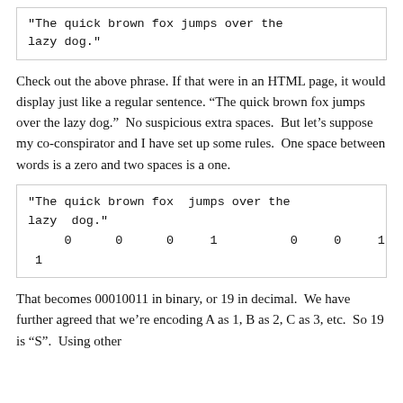"The quick brown fox  jumps over the
lazy  dog."
Check out the above phrase. If that were in an HTML page, it would display just like a regular sentence. “The quick brown fox jumps over the lazy dog.”  No suspicious extra spaces.  But let’s suppose my co-conspirator and I have set up some rules.  One space between words is a zero and two spaces is a one.
"The quick brown fox  jumps over the
lazy  dog."
     0      0      0     1          0     0     1
 1
That becomes 00010011 in binary, or 19 in decimal.  We have further agreed that we’re encoding A as 1, B as 2, C as 3, etc.  So 19 is “S”.  Using other encoding, we could have sent any kind of fine